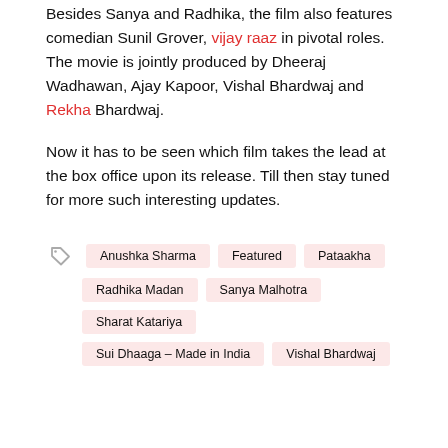Besides Sanya and Radhika, the film also features comedian Sunil Grover, vijay raaz in pivotal roles. The movie is jointly produced by Dheeraj Wadhawan, Ajay Kapoor, Vishal Bhardwaj and Rekha Bhardwaj.
Now it has to be seen which film takes the lead at the box office upon its release. Till then stay tuned for more such interesting updates.
Anushka Sharma
Featured
Pataakha
Radhika Madan
Sanya Malhotra
Sharat Katariya
Sui Dhaaga – Made in India
Vishal Bhardwaj